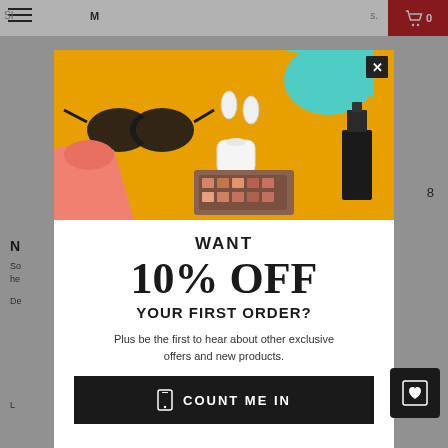[Figure (screenshot): E-commerce website background page with top navigation bar, menu icon, cart icon, and partial product listing text. A promotional modal popup is overlaid on the page.]
WANT
10% OFF
YOUR FIRST ORDER?
Plus be the first to hear about other exclusive offers and new products.
COUNT ME IN
By joining via text messages, you agree to receive recurring marketing messages (e.g. cart abandon) from Doshi at the mobile number used to send the join text message.